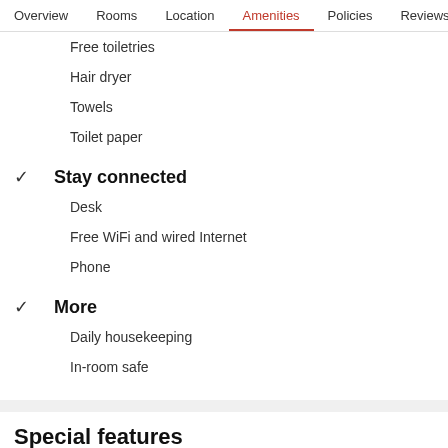Overview  Rooms  Location  Amenities  Policies  Reviews
Free toiletries
Hair dryer
Towels
Toilet paper
Stay connected
Desk
Free WiFi and wired Internet
Phone
More
Daily housekeeping
In-room safe
Special features